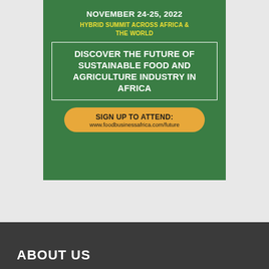NOVEMBER 24-25, 2022
HYBRID SUMMIT ACROSS AFRICA & THE WORLD
DISCOVER THE FUTURE OF SUSTAINABLE FOOD AND AGRICULTURE INDUSTRY IN AFRICA
SIGN UP TO ATTEND: www.foodbusinessafrica.com/future
ABOUT US